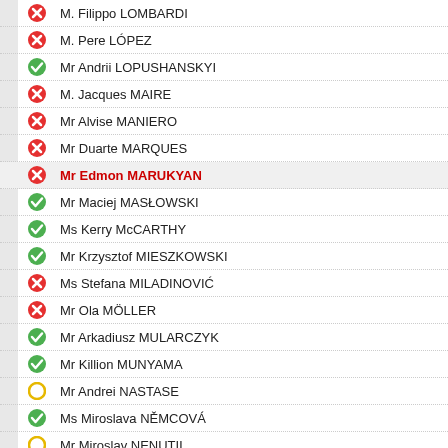M. Filippo LOMBARDI
M. Pere LÓPEZ
Mr Andrii LOPUSHANSKYI
M. Jacques MAIRE
Mr Alvise MANIERO
Mr Duarte MARQUES
Mr Edmon MARUKYAN
Mr Maciej MASŁOWSKI
Ms Kerry McCARTHY
Mr Krzysztof MIESZKOWSKI
Ms Stefana MILADINOVIĆ
Mr Ola MÖLLER
Mr Arkadiusz MULARCZYK
Mr Killion MUNYAMA
Mr Andrei NASTASE
Ms Miroslava NĚMCOVÁ
Mr Miroslav NENUTIL